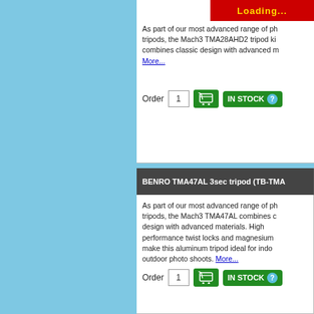[Figure (screenshot): Loading bar with yellow text on red background reading 'Loading...']
As part of our most advanced range of ph... tripods, the Mach3 TMA28AHD2 tripod ki... combines classic design with advanced m... More...
Order 1 [cart] IN STOCK
BENRO TMA47AL 3sec tripod (TB-TMA...
As part of our most advanced range of ph... tripods, the Mach3 TMA47AL combines classic design with advanced materials. High performance twist locks and magnesium ... make this aluminum tripod ideal for indoor... outdoor photo shoots. More...
Order 1 [cart] IN STOCK